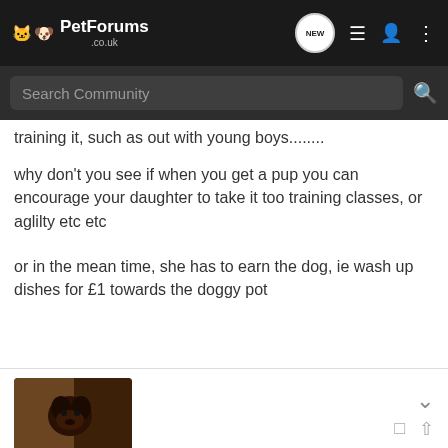PetForums .co.uk
training it, such as out with young boys........
why don't you see if when you get a pup you can encourage your daughter to take it too training classes, or aglilty etc etc
or in the mean time, she has to earn the dog, ie wash up dishes for £1 towards the doggy pot
[Figure (photo): Small dark-colored puppy/dog photo used as forum user avatar]